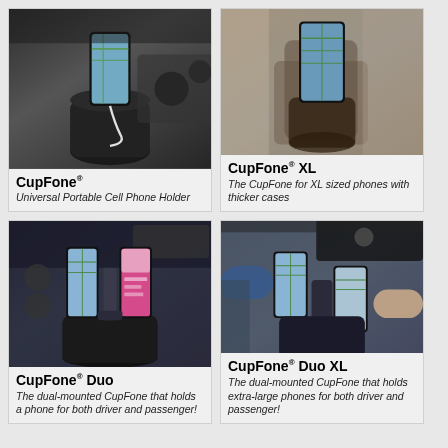[Figure (photo): Car cup holder with a phone mounted vertically showing a map, with a charging cable, dark car interior]
CupFone® Universal Portable Cell Phone Holder
[Figure (photo): Car cup holder with an XL phone mounted vertically showing a map, tan and gray car interior]
CupFone® XL The CupFone for XL sized phones with thicker cases
[Figure (photo): Dual cup holder mount with two phones side by side, one showing a map and one showing a pink screen, dark car interior]
CupFone® Duo The dual-mounted CupFone that holds a phone for both driver and passenger!
[Figure (photo): Two people in car using dual phone holder, driver and passenger each holding phones mounted in cup holder area]
CupFone® Duo XL The dual-mounted CupFone that holds extra-large phones for both driver and passenger!